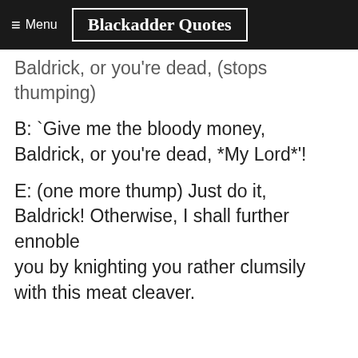≡ Menu | Blackadder Quotes
Baldrick, or you're dead, (stops thumping)
B: `Give me the bloody money, Baldrick, or you're dead, *My Lord*'!
E: (one more thump) Just do it, Baldrick! Otherwise, I shall further ennoble you by knighting you rather clumsily with this meat cleaver.